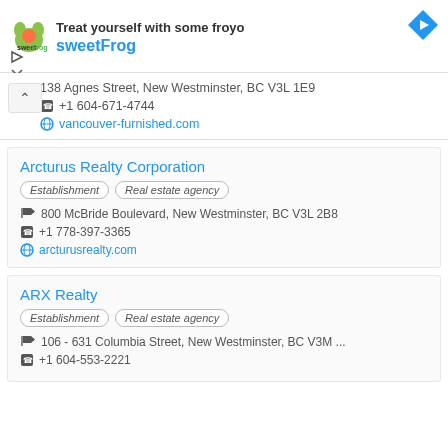[Figure (screenshot): SweetFrog ad banner with logo, brand name, and navigation arrow icon]
138 Agnes Street, New Westminster, BC V3L 1E9
+1 604-671-4744
vancouver-furnished.com
Arcturus Realty Corporation
Establishment
Real estate agency
800 McBride Boulevard, New Westminster, BC V3L 2B8
+1 778-397-3365
arcturusrealty.com
ARX Realty
Establishment
Real estate agency
106 - 631 Columbia Street, New Westminster, BC V3M ...
+1 604-553-2221